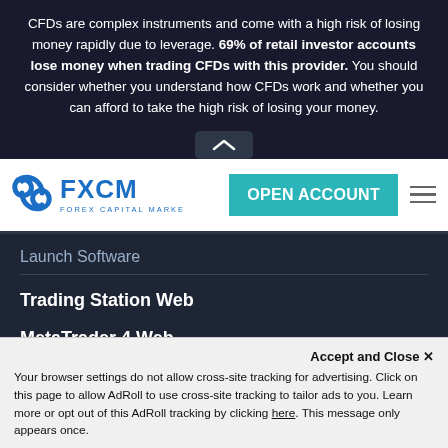CFDs are complex instruments and come with a high risk of losing money rapidly due to leverage. 69% of retail investor accounts lose money when trading CFDs with this provider. You should consider whether you understand how CFDs work and whether you can afford to take the high risk of losing your money.
[Figure (logo): FXCM Forex Capital Markets logo in blue]
OPEN ACCOUNT
Launch Software
Trading Station Web
MetaTrader 4 Web
Accounts
Accept and Close ✕
Your browser settings do not allow cross-site tracking for advertising. Click on this page to allow AdRoll to use cross-site tracking to tailor ads to you. Learn more or opt out of this AdRoll tracking by clicking here. This message only appears once.